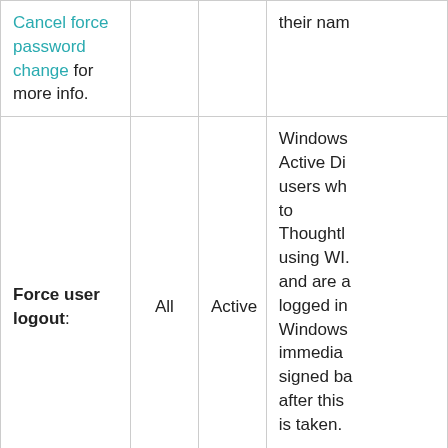| Action | Applies to | User Status | Notes |
| --- | --- | --- | --- |
| Cancel force password change for more info. |  |  | their nam |
| Force user logout: | All | Active | Windows Active Di users wh to Thoughtl using WI. and are a logged in Windows immedia signed ba after this is taken. |